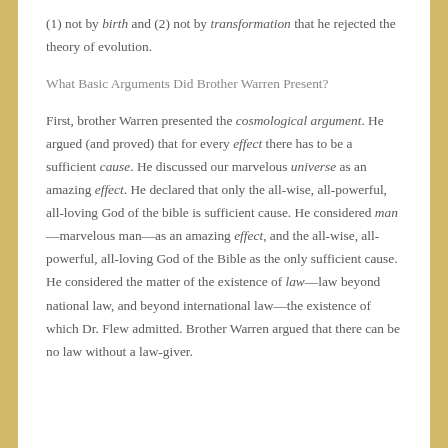(1) not by birth and (2) not by transformation that he rejected the theory of evolution.
What Basic Arguments Did Brother Warren Present?
First, brother Warren presented the cosmological argument. He argued (and proved) that for every effect there has to be a sufficient cause. He discussed our marvelous universe as an amazing effect. He declared that only the all-wise, all-powerful, all-loving God of the bible is sufficient cause. He considered man—marvelous man—as an amazing effect, and the all-wise, all-powerful, all-loving God of the Bible as the only sufficient cause. He considered the matter of the existence of law—law beyond national law, and beyond international law—the existence of which Dr. Flew admitted. Brother Warren argued that there can be no law without a law-giver.